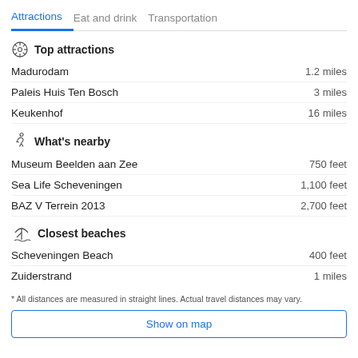Attractions | Eat and drink | Transportation
Top attractions
Madurodam — 1.2 miles
Paleis Huis Ten Bosch — 3 miles
Keukenhof — 16 miles
What's nearby
Museum Beelden aan Zee — 750 feet
Sea Life Scheveningen — 1,100 feet
BAZ V Terrein 2013 — 2,700 feet
Closest beaches
Scheveningen Beach — 400 feet
Zuiderstrand — 1 miles
* All distances are measured in straight lines. Actual travel distances may vary.
Show on map